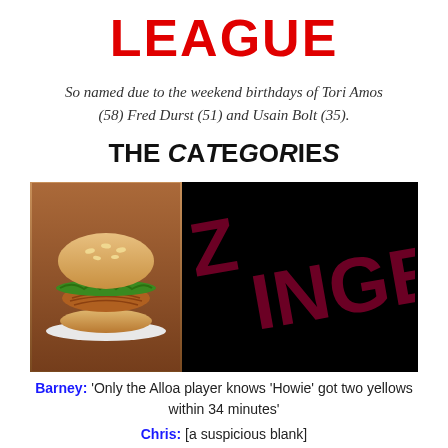LEAGUE
So named due to the weekend birthdays of Tori Amos (58) Fred Durst (51) and Usain Bolt (35).
THE CATEGORIES
[Figure (photo): Image of a KFC Zinger burger on the left half and dark background with 'ZINGER' text in large distressed crimson letters on the right half.]
Barney: 'Only the Alloa player knows 'Howie' got two yellows within 34 minutes'
Chris: [a suspicious blank]
Howard: 'Fulham make it 2-0 – Cue the Fresh 'Hull'